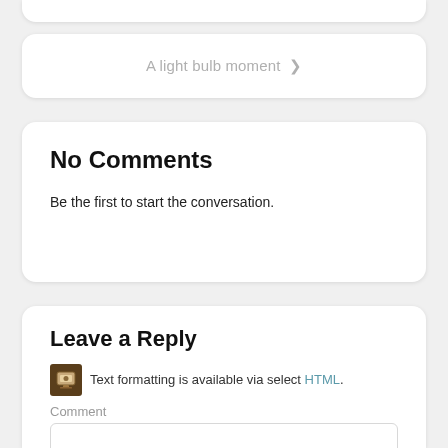A light bulb moment ›
No Comments
Be the first to start the conversation.
Leave a Reply
Text formatting is available via select HTML.
Comment